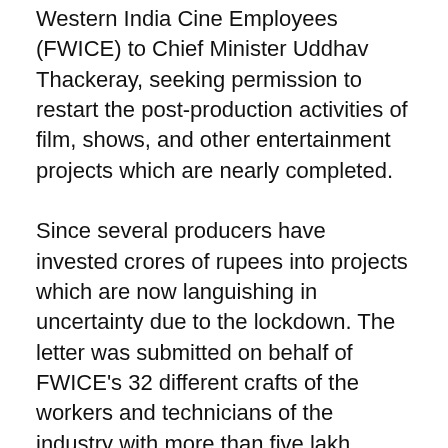Western India Cine Employees (FWICE) to Chief Minister Uddhav Thackeray, seeking permission to restart the post-production activities of film, shows, and other entertainment projects which are nearly completed.
Since several producers have invested crores of rupees into projects which are now languishing in uncertainty due to the lockdown. The letter was submitted on behalf of FWICE's 32 different crafts of the workers and technicians of the industry with more than five lakh members.